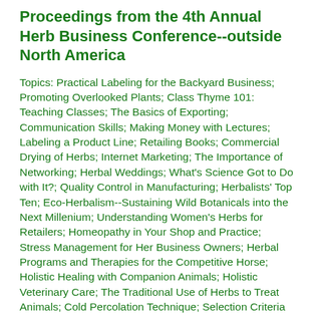Proceedings from the 4th Annual Herb Business Conference--outside North America
Topics: Practical Labeling for the Backyard Business; Promoting Overlooked Plants; Class Thyme 101: Teaching Classes; The Basics of Exporting; Communication Skills; Making Money with Lectures; Labeling a Product Line; Retailing Books; Commercial Drying of Herbs; Internet Marketing; The Importance of Networking; Herbal Weddings; What's Science Got to Do with It?; Quality Control in Manufacturing; Herbalists' Top Ten; Eco-Herbalism--Sustaining Wild Botanicals into the Next Millenium; Understanding Women's Herbs for Retailers; Homeopathy in Your Shop and Practice; Stress Management for Her Business Owners; Herbal Programs and Therapies for the Competitive Horse; Holistic Healing with Companion Animals; Holistic Veterinary Care; The Traditional Use of Herbs to Treat Animals; Cold Percolation Technique; Selection Criteria of Botanicals; $cents Scents--Marketing Aromatherapy; Natural Rearing of Pets and Livestock; Lasagna Gardening; Growing Herbs and Spices in the South; Organic Pest Control; Issues in Chinese Medicinal